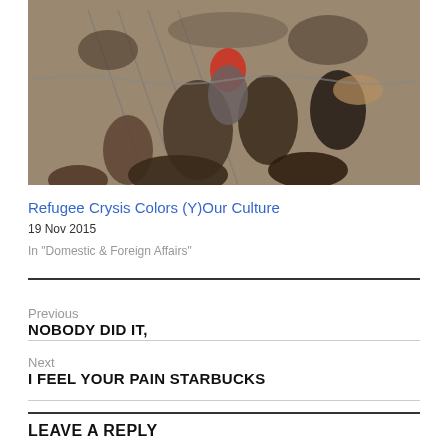[Figure (photo): Refugees climbing over a wire fence, with a man passing a child over the top. Crowds of people visible in the background.]
Refugee Crysis Colors (Y)Our Culture
19 Nov 2015
In "Domestic & Foreign Affairs"
Previous
NOBODY DID IT,
Next
I FEEL YOUR PAIN STARBUCKS
LEAVE A REPLY